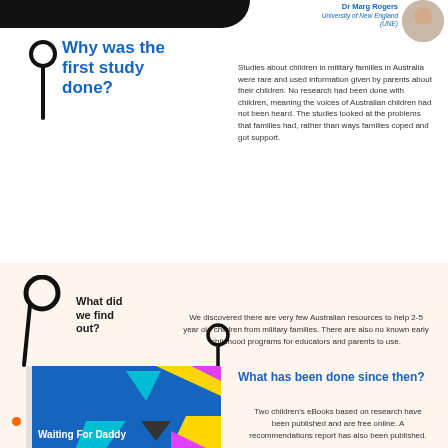Dr Marg Rogers
University of New England (UNE)
Why was the first study done?
Studies about children in military families in Australia were rare and used information given by parents about their children. No research had been done with children, meaning the voices of Australian children had not been heard. The studies looked at the problems that families had, rather than ways families coped and got support.
What did we find out?
We discovered there are very few Australian resources to help 2-5 year old children from military families. There are also no known early childhood programs for educators and parents to use.
What has been done since then?
Two children's eBooks based on research have been published and are free online. A recommendations report has also been published.
[Figure (illustration): Book cover showing 'Waiting For Daddy' children's book with colourful geometric shapes on blue background]